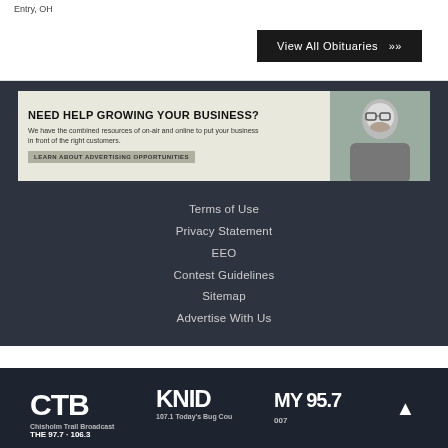Entry, OH
[Figure (screenshot): View All Obituaries button in dark background]
[Figure (infographic): Advertisement banner: NEED HELP GROWING YOUR BUSINESS? We have the combined resources of on-air and online to put your business in front of the right customers. LEARN ABOUT ADVERTISING OPPORTUNITIES]
Terms of Use
Privacy Statement
EEO
Contest Guidelines
Sitemap
Advertise With Us
[Figure (logo): Radio station logos: CTB Chisholm Trail Broadcasting Co., KNID 107.1 Today's Bug Country, MY 95.7, 97.7, 106.3, and others]